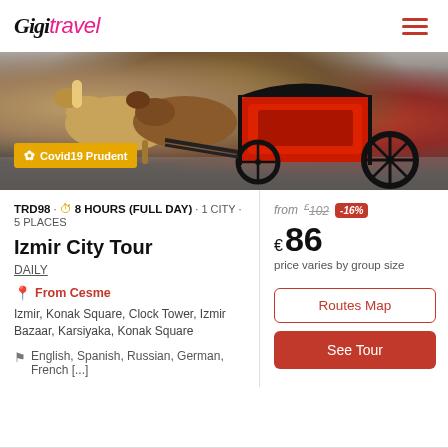Gigi Travel
[Figure (photo): Horse-drawn carriages with red seats and black ironwork on a street, with a Covid19 Prudent badge overlay]
TRD98 · 8 HOURS (FULL DAY) · 1 CITY · 5 PLACES
Izmir City Tour
DAILY
From Cesme
Izmir, Konak Square, Clock Tower, Izmir Bazaar, Karsiyaka, Konak Square
English, Spanish, Russian, German, French [...]
from £102 -16%
€86 price varies by group size
Routes Map
See Tour